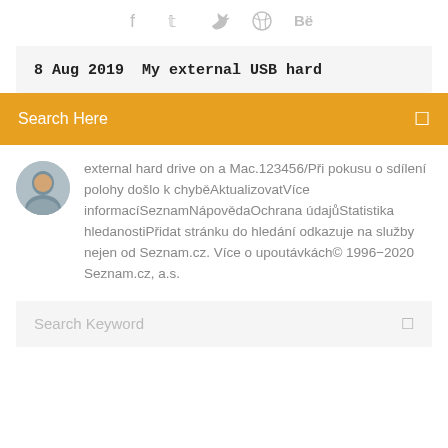[Figure (other): Social media icons: Facebook, Twitter, Dribbble, Behance in grey]
8 Aug 2019  My external USB hard
Search Here
[Figure (photo): Round avatar photo of a young man]
external hard drive on a Mac.123456/Při pokusu o sdílení polohy došlo k chyběAktualizovatVíce informacíSeznamNápovědaOchrana údajůStatistika hledanostiPřidat stránku do hledání odkazuje na služby nejen od Seznam.cz. Více o upoutávkách© 1996–2020 Seznam.cz, a.s.
Search Keyword